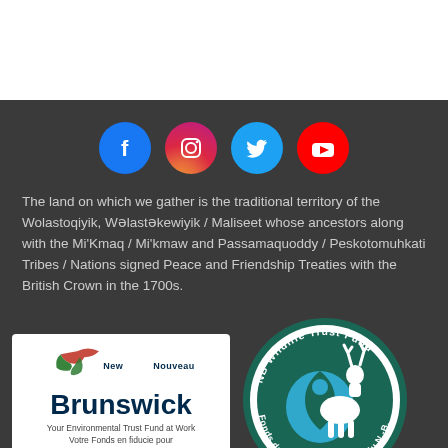[Figure (other): Social media icons row: Facebook (blue circle), Instagram (gradient pink/purple circle), Twitter (light blue circle), YouTube (red circle)]
The land on which we gather is the traditional territory of the Wolastoqiyik, Wəlastəkewiyik / Maliseet whose ancestors along with the Mi'Kmaq / Mi'kmaw and Passamaquoddy / Peskotomuhkati Tribes / Nations signed Peace and Friendship Treaties with the British Crown in the 1700s.
[Figure (logo): New Brunswick / Nouveau-Brunswick logo with a bird illustration. Tagline: Your Environmental Trust Fund at Work / Votre Fonds en fiducie pour l'environnement au travail]
[Figure (logo): NB Wildlife Trust Fund / Fonds de Fiducie de la Faune du N.-B. circular logo featuring a deer and water drop design in teal and blue]